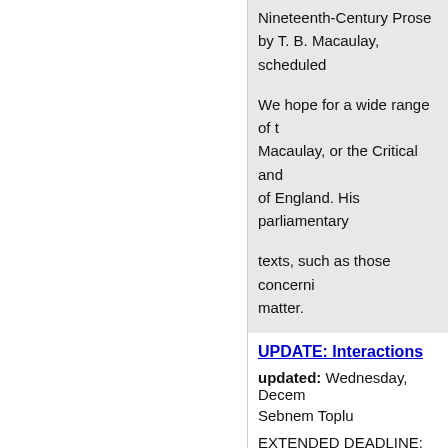Nineteenth-Century Prose by T. B. Macaulay, scheduled...
We hope for a wide range of t... Macaulay, or the Critical and... of England. His parliamentary...
texts, such as those concerni... matter.
UPDATE: Interactions...
updated: Wednesday, Decem...
Sebnem Toplu
EXTENDED DEADLINE: 15 Jan...
« first  ‹ previous  ..
2630  2631  2632